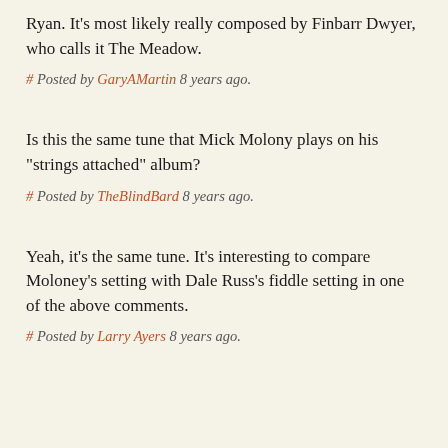Ryan. It's most likely really composed by Finbarr Dwyer, who calls it The Meadow.
# Posted by GaryAMartin 8 years ago.
Is this the same tune that Mick Molony plays on his "strings attached" album?
# Posted by TheBlindBard 8 years ago.
Yeah, it's the same tune. It's interesting to compare Moloney's setting with Dale Russ's fiddle setting in one of the above comments.
# Posted by Larry Ayers 8 years ago.